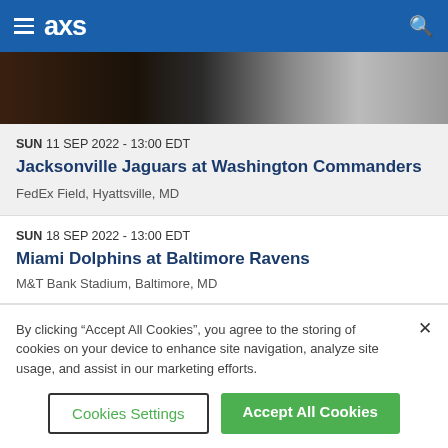AXS
[Figure (photo): Dark image strip showing partial view of a person and a headphone/helmet in black and white]
SUN 11 SEP 2022 - 13:00 EDT
Jacksonville Jaguars at Washington Commanders
FedEx Field, Hyattsville, MD
SUN 18 SEP 2022 - 13:00 EDT
Miami Dolphins at Baltimore Ravens
M&T Bank Stadium, Baltimore, MD
By clicking “Accept All Cookies”, you agree to the storing of cookies on your device to enhance site navigation, analyze site usage, and assist in our marketing efforts.
Cookies Settings
Accept All Cookies